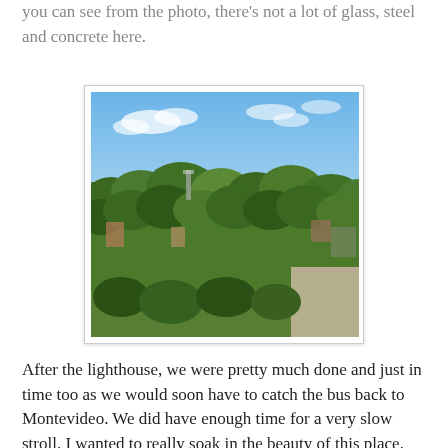you can see from the photo, there's not a lot of glass, steel and concrete here.
[Figure (photo): Aerial view of a lush green colonial town with trees covering most of the area, low-rise buildings visible beneath the canopy, blue sky with some clouds above.]
After the lighthouse, we were pretty much done and just in time too as we would soon have to catch the bus back to Montevideo.  We did have enough time for a very slow stroll.  I wanted to really soak in the beauty of this place.  Colonia was another reminder of why I so love Spanish colonial cities.  Surprisingly, after nearly 4 weeks of traveling through South America, it was the first colonial city we had been in.  I don't know what happened to Chile and Argentina?  Perhaps